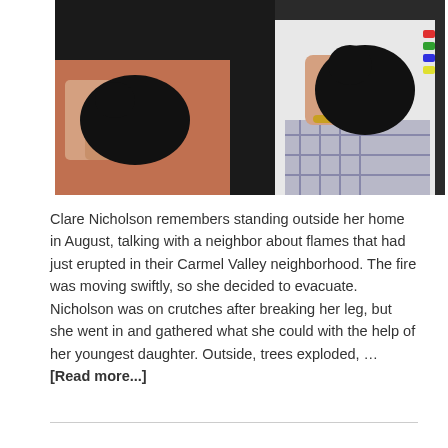[Figure (photo): Two people holding black cats or animals, one wearing a white shirt and plaid skirt with a gold bracelet, the other in a rust/pink top. Dark background.]
Clare Nicholson remembers standing outside her home in August, talking with a neighbor about flames that had just erupted in their Carmel Valley neighborhood. The fire was moving swiftly, so she decided to evacuate. Nicholson was on crutches after breaking her leg, but she went in and gathered what she could with the help of her youngest daughter. Outside, trees exploded, … [Read more...]